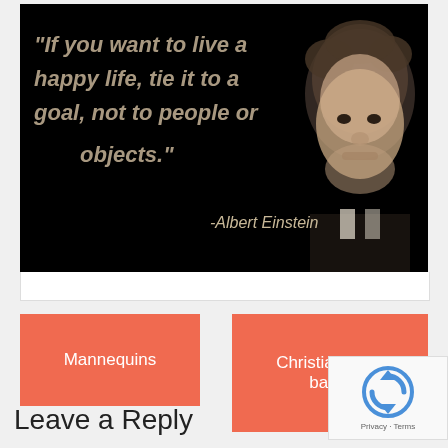[Figure (illustration): Black background motivational quote image with text: "If you want to live a happy life, tie it to a goal, not to people or objects." -Albert Einstein, with a sepia-toned photo of Albert Einstein on the right side.]
Mannequins
Christians in a battle
Leave a Reply